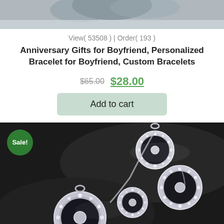[Figure (photo): Top portion of a product photo showing a blurred background with marble-like texture]
View( 53508 )  |  Order( 193 )
Anniversary Gifts for Boyfriend, Personalized Bracelet for Boyfriend, Custom Bracelets
$65.00  $28.00
Add to cart
[Figure (photo): Close-up photo of silver crystal charm bracelets on a dark background, with a green Sale! badge overlaid in the top left corner]